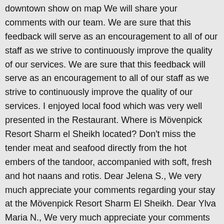downtown show on map We will share your comments with our team. We are sure that this feedback will serve as an encouragement to all of our staff as we strive to continuously improve the quality of our services. We are sure that this feedback will serve as an encouragement to all of our staff as we strive to continuously improve the quality of our services. I enjoyed local food which was very well presented in the Restaurant. Where is Mövenpick Resort Sharm el Sheikh located? Don't miss the tender meat and seafood directly from the hot embers of the tandoor, accompanied with soft, fresh and hot naans and rotis. Dear Jelena S., We very much appreciate your comments regarding your stay at the Mövenpick Resort Sharm El Sheikh. Dear Ylva Maria N., We very much appreciate your comments regarding your stay at the Mövenpick Resort Sharm El Sheikh. Your comments about NY party are taken into consideration . Dear MeghanPerry93, Thank you for choosing Mövenpick Resort, Sharm-el-Sheikh for your stay. Definitely would recommend to my friends and colleagues and choose for my